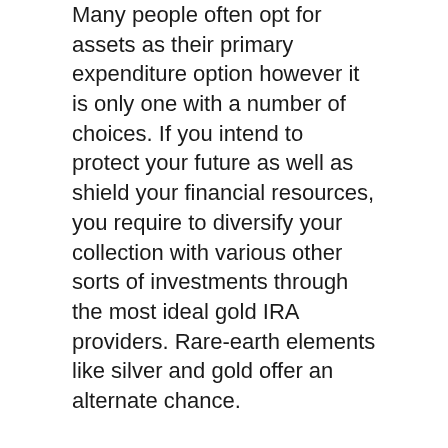Many people often opt for assets as their primary expenditure option however it is only one with a number of choices. If you intend to protect your future as well as shield your financial resources, you require to diversify your collection with various other sorts of investments through the most ideal gold IRA providers. Rare-earth elements like silver and gold offer an alternate chance.
Putting in a portion of your money right into metals, either via individual assets or even self-reliant IRA, enables you to spread your financial investments and also make them much more dependable just in case the stock market system crashes. In case the stock market accidents just before your organized retirement life or for various other